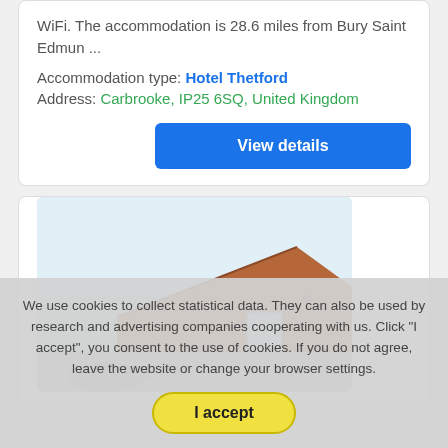WiFi. The accommodation is 28.6 miles from Bury Saint Edmun ...
Accommodation type: Hotel Thetford
Address: Carbrooke, IP25 6SQ, United Kingdom
View details
[Figure (photo): Photo of a building with brick roof and white windows against a light blue sky, and a lower area showing a vehicle/courtyard.]
We use cookies to collect statistical data. They can also be used by research and advertising companies cooperating with us. Click "I accept", you consent to the use of cookies. If you do not agree, leave the website or change your browser settings.
I accept